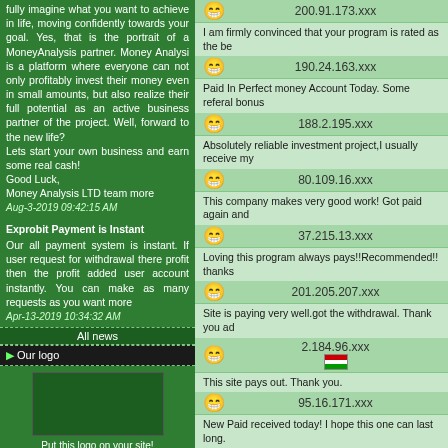fully imagine what you want to achieve in life, moving confidently towards your goal. Yes, that is the portrait of a MoneyAnalysis partner. Money Analysi is a platform where everyone can not only profitably invest their money even in small amounts, but also realize their full potential as an active business partner of the project. Well, forward to the new life?
Lets start your own business and earn some real cash!
Good Luck,
Money Analysis LTD team more
Aug-3-2019 09:42:15 AM
Exprobit Payment is Instant
Our all payment system is instant. If user request for withdrawal there profit then the profit added user account instantly. You can make as many requests as you want more
Apr-13-2019 10:34:32 AM
All news
Our logo
Put this logo on your site!
Click here for HTML code
200.91.173.xxx
I am firmly convinced that your program is rated as the be
190.24.163.xxx
Paid In Perfect money Account Today. Some referal bonus
188.2.195.xxx
Absolutely reliable investment project,I usually receive my
80.109.16.xxx
This company makes very good work! Got paid again and
37.215.13.xxx
Loving this program always pays!!Recommended!! thanks
201.205.207.xxx
Site is paying very well.got the withdrawal. Thank you ad
2.184.96.xxx
This site pays out. Thank you.
95.16.171.xxx
New Paid received today! I hope this one can last long.
92.37.33.xxx
I will definitely give a good share...